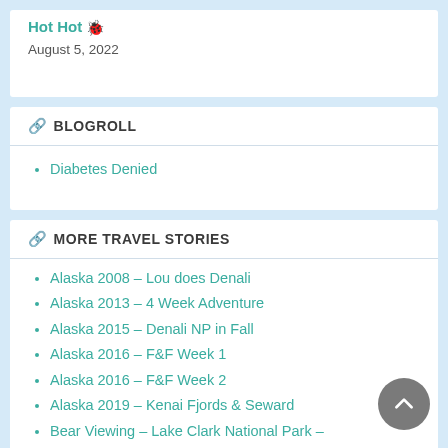Hot Hot 🐞
August 5, 2022
BLOGROLL
Diabetes Denied
MORE TRAVEL STORIES
Alaska 2008 – Lou does Denali
Alaska 2013 – 4 Week Adventure
Alaska 2015 – Denali NP in Fall
Alaska 2016 – F&F Week 1
Alaska 2016 – F&F Week 2
Alaska 2019 – Kenai Fjords & Seward
Bear Viewing – Lake Clark National Park –